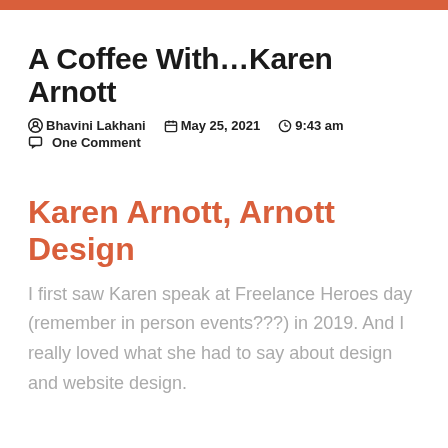A Coffee With…Karen Arnott
Bhavini Lakhani   May 25, 2021   9:43 am
One Comment
Karen Arnott, Arnott Design
I first saw Karen speak at Freelance Heroes day (remember in person events???) in 2019. And I really loved what she had to say about design and website design.